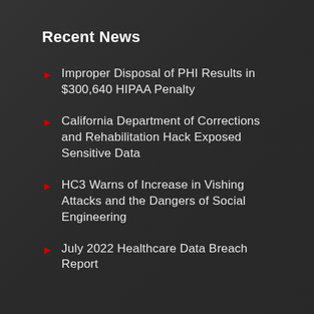Recent News
Improper Disposal of PHI Results in $300,640 HIPAA Penalty
California Department of Corrections and Rehabilitation Hack Exposed Sensitive Data
HC3 Warns of Increase in Vishing Attacks and the Dangers of Social Engineering
July 2022 Healthcare Data Breach Report